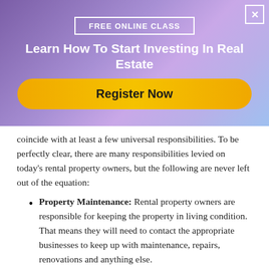[Figure (other): Promotional banner with purple/blue gradient background. Contains 'FREE ONLINE CLASS' in a white-bordered box, heading 'Learn How To Start Investing In Real Estate', and a yellow 'Register Now' button. Close (X) button in top right corner.]
coincide with at least a few universal responsibilities. To be perfectly clear, there are many responsibilities levied on today's rental property owners, but the following are never left out of the equation:
Property Maintenance: Rental property owners are responsible for keeping the property in living condition. That means they will need to contact the appropriate businesses to keep up with maintenance, repairs, renovations and anything else.
Filling Vacancies: The worst thing that can happen to a rental property owner is a vacancy. Therefore, finding tenants is one of the biggest responsibilities of